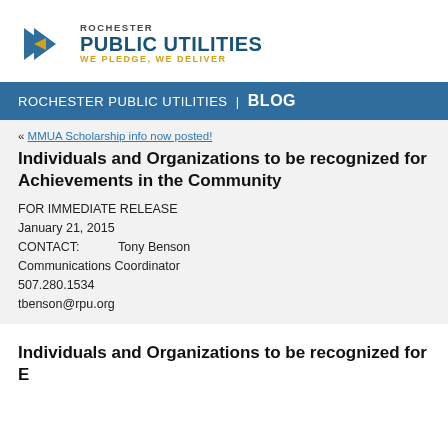[Figure (logo): Rochester Public Utilities logo with blue arrow/R icon, 'ROCHESTER PUBLIC UTILITIES' text, and tagline 'WE PLEDGE, WE DELIVER']
ROCHESTER PUBLIC UTILITIES | BLOG
« MMUA Scholarship info now posted!
Individuals and Organizations to be recognized for Achievements in the Community
FOR IMMEDIATE RELEASE
January 21, 2015
CONTACT:   Tony Benson
Communications Coordinator
507.280.1534
tbenson@rpu.org
Individuals and Organizations to be recognized for E...